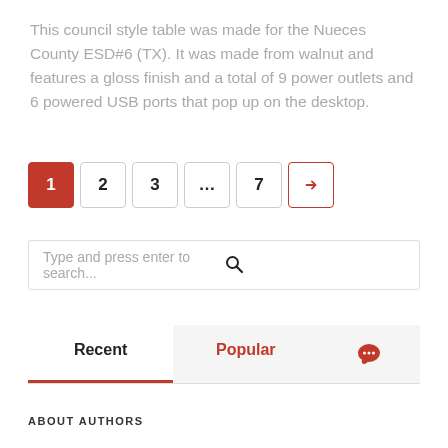This council style table was made for the Nueces County ESD#6 (TX). It was made from walnut and features a gloss finish and a total of 9 power outlets and 6 powered USB ports that pop up on the desktop.
Pagination: 1 (active), 2, 3, ..., 7, → (next)
Type and press enter to search...
Recent | Popular | [comment icon]
ABOUT AUTHORS